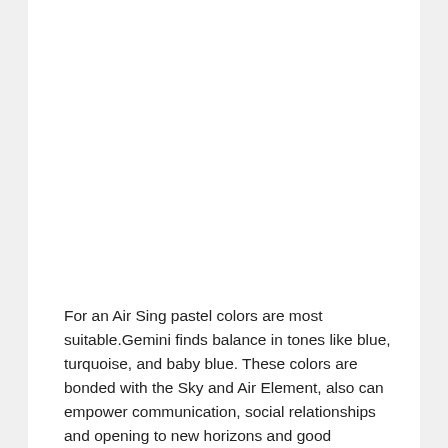For an Air Sing pastel colors are most suitable.Gemini finds balance in tones like blue, turquoise, and baby blue. These colors are bonded with the Sky and Air Element, also can empower communication, social relationships and opening to new horizons and good